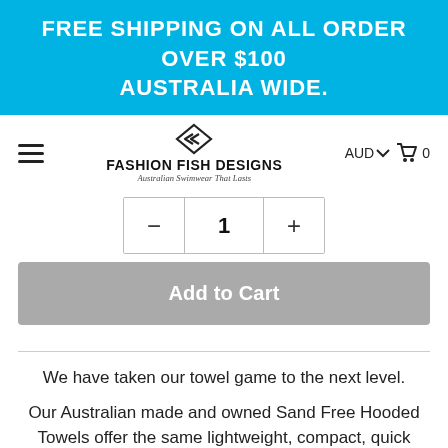FREE SHIPPING ON ALL ORDER OVER $100 AUSTRALIA WIDE.
[Figure (logo): Fashion Fish Designs logo with fish icon, brand name, and tagline 'Australian Swimwear That Lasts']
- 1 +
Add to Cart
We have taken our towel game to the next level.
Our Australian made and owned Sand Free Hooded Towels offer the same lightweight, compact, quick